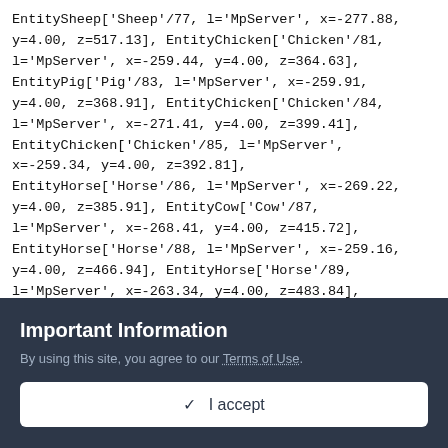EntitySheep['Sheep'/77, l='MpServer', x=-277.88, y=4.00, z=517.13], EntityChicken['Chicken'/81, l='MpServer', x=-259.44, y=4.00, z=364.63], EntityPig['Pig'/83, l='MpServer', x=-259.91, y=4.00, z=368.91], EntityChicken['Chicken'/84, l='MpServer', x=-271.41, y=4.00, z=399.41], EntityChicken['Chicken'/85, l='MpServer', x=-259.34, y=4.00, z=392.81], EntityHorse['Horse'/86, l='MpServer', x=-269.22, y=4.00, z=385.91], EntityCow['Cow'/87, l='MpServer', x=-268.41, y=4.00, z=415.72], EntityHorse['Horse'/88, l='MpServer', x=-259.16, y=4.00, z=466.94], EntityHorse['Horse'/89, l='MpServer', x=-263.34, y=4.00, z=483.84], EntityChicken['Chicken'/96, l='MpServer', x=-245.59, y=4.00, z=364.47]
Important Information
By using this site, you agree to our Terms of Use.
✓ I accept